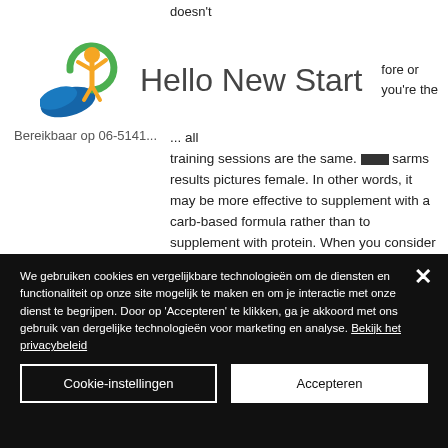[Figure (logo): Hello New Start logo with colorful figure and text]
training sessions are the same. sarms results pictures female. In other words, it may be more effective to supplement with a carb-based formula rather than to supplement with protein. When you consider your fitness level and your training, and your
Bereikbaar op 06-5141...
We gebruiken cookies en vergelijkbare technologieën om de diensten en functionaliteit op onze site mogelijk te maken en om je interactie met onze dienst te begrijpen. Door op 'Accepteren' te klikken, ga je akkoord met ons gebruik van dergelijke technologieën voor marketing en analyse. Bekijk het privacybeleid
Cookie-instellingen
Accepteren